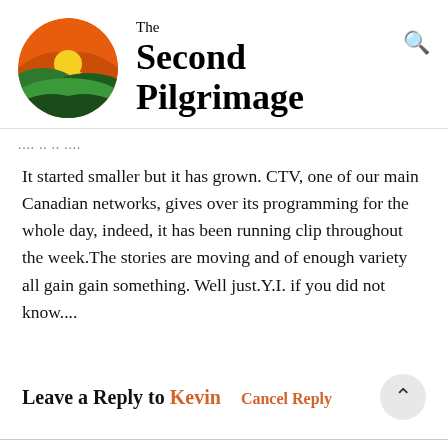[Figure (logo): The Second Pilgrimage website logo: a circular icon showing a sunset with orange sky, yellow sun rays, and rolling green hills, next to the site name 'The Second Pilgrimage' in serif font with a search icon top right]
.... .. .. ....
It started smaller but it has grown. CTV, one of our main Canadian networks, gives over its programming for the whole day, indeed, it has been running clip throughout the week.The stories are moving and of enough variety all gain gain something. Well just.Y.I. if you did not know....
Leave a Reply to Kevin  Cancel Reply